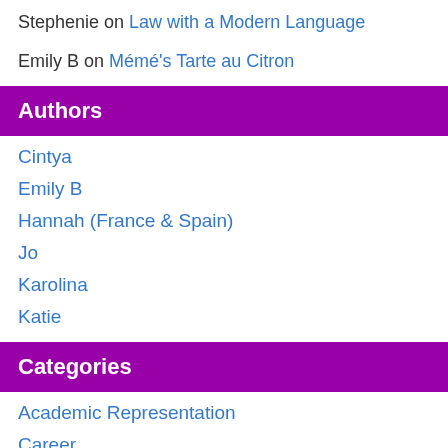Stephenie on Law with a Modern Language
Emily B on Mémé's Tarte au Citron
Authors
Cintya
Emily B
Hannah (France & Spain)
Jo
Karolina
Katie
Categories
Academic Representation
Career